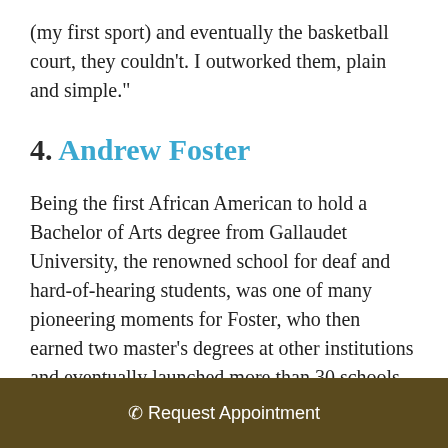(my first sport) and eventually the basketball court, they couldn’t. I outworked them, plain and simple.”
4. Andrew Foster
Being the first African American to hold a Bachelor of Arts degree from Gallaudet University, the renowned school for deaf and hard-of-hearing students, was one of many pioneering moments for Foster, who then earned two master’s degrees at other institutions and eventually launched more than 30 schools for the deaf in over a dozen
Request Appointment